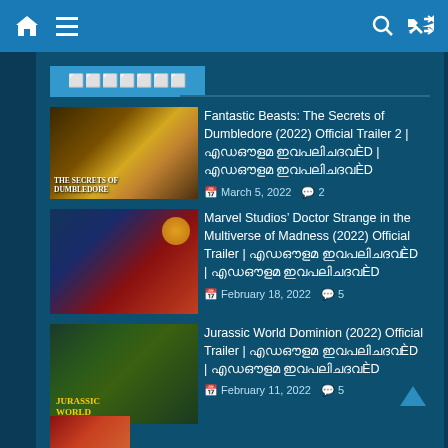Navigation bar with home, menu, search, random icons
മുതലാഴി
Fantastic Beasts: The Secrets of Dumbledore (2022) Official Trailer 2 | സിനിമ ട്രെയിലര്‍ | March 5, 2022 | 2
Marvel Studios’ Doctor Strange in the Multiverse of Madness (2022) Official Trailer | സിനിമ ട്രെയിലര്‍ | February 18, 2022 | 5
Jurassic World Dominion (2022) Official Trailer | സിനിമ ട്രെയിലര്‍ | February 11, 2022 | 5